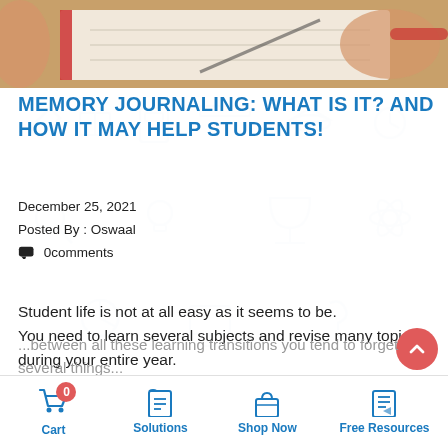[Figure (photo): Photo of a student's hands writing in a notebook/journal on a wooden surface, with a red bracelet visible. Warm tones.]
MEMORY JOURNALING: WHAT IS IT? AND HOW IT MAY HELP STUDENTS!
December 25, 2021
Posted By : Oswaal
💬 0comments
Student life is not at all easy as it seems to be. You need to learn several subjects and revise many topics during your entire year.
...between all these learning transitions you tend to forget several things...
Cart  0  |  Solutions  |  Shop Now  |  Free Resources